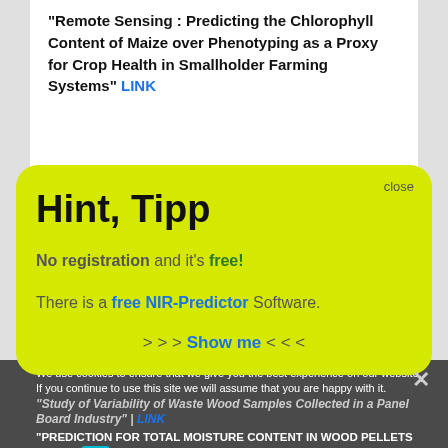"Remote Sensing : Predicting the Chlorophyll Content of Maize over Phenotyping as a Proxy for Crop Health in Smallholder Farming Systems" LINK
[Figure (screenshot): Yellow rounded popup dialog box with 'close' button in top-right corner, heading 'Hint, Tipp', text 'No registration and it's free!', 'There is a free NIR-Predictor Software.', and '>>>Show me<<<' link.]
We use cookies to ensure that we give you the best experience on our website. If you continue to use this site we will assume that you are happy with it.
"Study of Variability of Waste Wood Samples Collected in a Panel Board Industry" | LINK
"PREDICTION FOR TOTAL MOISTURE CONTENT IN WOOD PELLETS BY NEAR INFRARED SPECTROSCOPY NIRS"